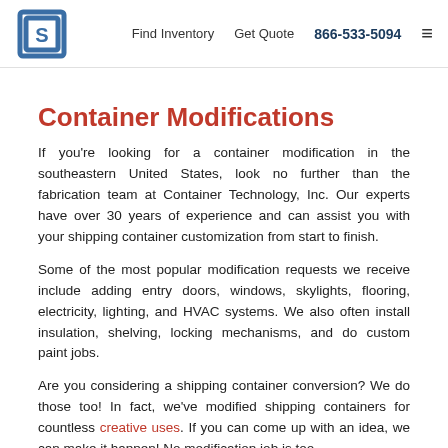Container Technology, Inc. | Find Inventory | Get Quote | 866-533-5094
Container Modifications
If you're looking for a container modification in the southeastern United States, look no further than the fabrication team at Container Technology, Inc. Our experts have over 30 years of experience and can assist you with your shipping container customization from start to finish.
Some of the most popular modification requests we receive include adding entry doors, windows, skylights, flooring, electricity, lighting, and HVAC systems. We also often install insulation, shelving, locking mechanisms, and do custom paint jobs.
Are you considering a shipping container conversion? We do those too! In fact, we've modified shipping containers for countless creative uses. If you can come up with an idea, we can make it happen! No modification job is too